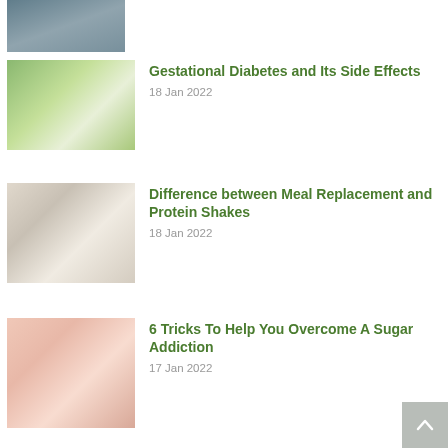[Figure (photo): Partial view of a person, cropped at top of page]
Gestational Diabetes and Its Side Effects
18 Jan 2022
[Figure (photo): Pregnant woman outdoors holding her belly]
Difference between Meal Replacement and Protein Shakes
18 Jan 2022
[Figure (photo): Person pouring a shake or milk in a kitchen setting with glasses and berries]
6 Tricks To Help You Overcome A Sugar Addiction
17 Jan 2022
[Figure (photo): Person in pink shirt holding a sugar cube, with thumbs down gesture]